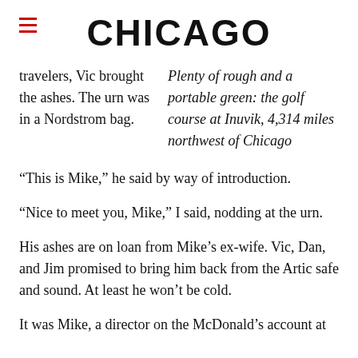CHICAGO
travelers, Vic brought the ashes. The urn was in a Nordstrom bag.
Plenty of rough and a portable green: the golf course at Inuvik, 4,314 miles northwest of Chicago
“This is Mike,” he said by way of introduction.
“Nice to meet you, Mike,” I said, nodding at the urn.
His ashes are on loan from Mike’s ex-wife. Vic, Dan, and Jim promised to bring him back from the Artic safe and sound. At least he won’t be cold.
It was Mike, a director on the McDonald’s account at